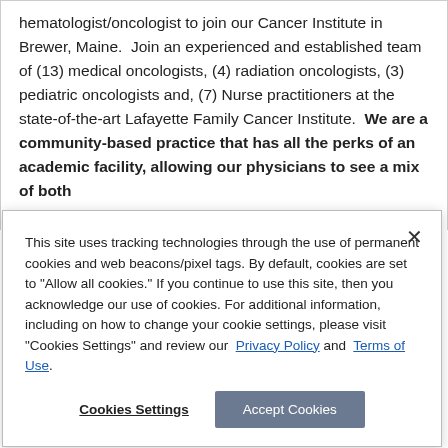hematologist/oncologist to join our Cancer Institute in Brewer, Maine. Join an experienced and established team of (13) medical oncologists, (4) radiation oncologists, (3) pediatric oncologists and, (7) Nurse practitioners at the state-of-the-art Lafayette Family Cancer Institute. We are a community-based practice that has all the perks of an academic facility, allowing our physicians to see a mix of both
This site uses tracking technologies through the use of permanent cookies and web beacons/pixel tags. By default, cookies are set to "Allow all cookies." If you continue to use this site, then you acknowledge our use of cookies. For additional information, including on how to change your cookie settings, please visit "Cookies Settings" and review our Privacy Policy and Terms of Use.
Cookies Settings   Accept Cookies